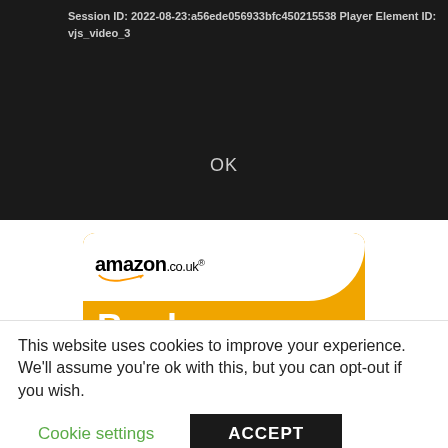[Figure (screenshot): Video player dark background with session ID and player element ID text, and an OK button]
Session ID: 2022-08-23:a56ede056933bfc450215538 Player Element ID: vjs_video_3
OK
[Figure (other): Amazon.co.uk Books advertisement banner with orange background, white top section with Amazon logo, Books text, Click here button, and Privacy Information link]
This website uses cookies to improve your experience. We'll assume you're ok with this, but you can opt-out if you wish.
Cookie settings
ACCEPT